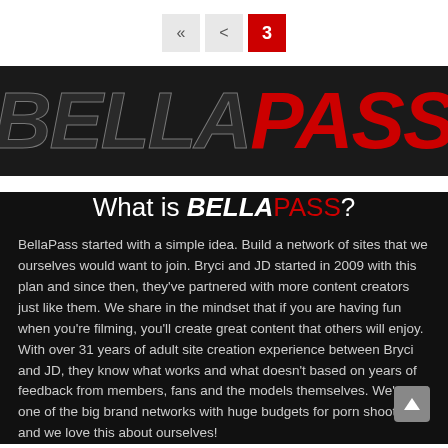« < 3
[Figure (logo): BellaPass logo — BELLA in dark italic bold text, PASS in red italic bold text, on dark background]
What is BELLAPASS?
BellaPass started with a simple idea. Build a network of sites that we ourselves would want to join. Bryci and JD started in 2009 with this plan and since then, they've partnered with more content creators just like them. We share in the mindset that if you are having fun when you're filming, you'll create great content that others will enjoy. With over 31 years of adult site creation experience between Bryci and JD, they know what works and what doesn't based on years of feedback from members, fans and the models themselves. We're not one of the big brand networks with huge budgets for porn shoots etc. and we love this about ourselves!